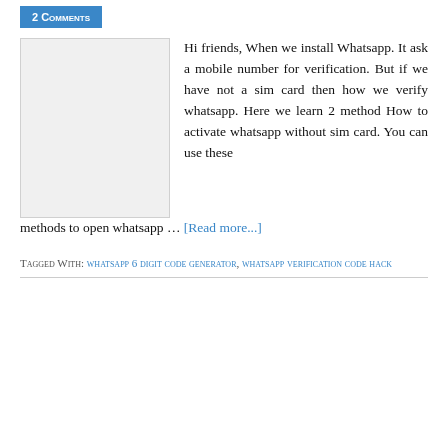2 Comments
[Figure (other): Blank/placeholder image rectangle]
Hi friends, When we install Whatsapp. It ask a mobile number for verification. But if we have not a sim card then how we verify whatsapp. Here we learn 2 method How to activate whatsapp without sim card. You can use these methods to open whatsapp … [Read more...]
Tagged With: whatsapp 6 digit code generator, whatsapp verification code hack